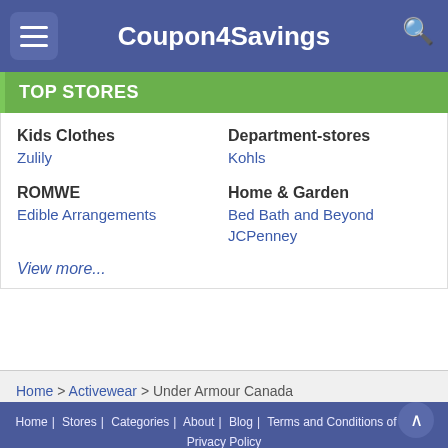Coupon4Savings
TOP STORES
Kids Clothes
Zulily
Department-stores
Kohls
ROMWE
Edible Arrangements
Home & Garden
Bed Bath and Beyond
JCPenney
View more...
Home > Activewear > Under Armour Canada
Home | Stores | Categories | About | Blog | Terms and Conditions of Use | Privacy Policy
Copyright © 2017 Coupon4Savings.com